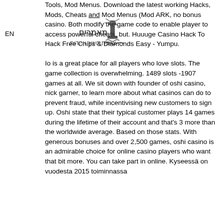EN
Tools, Mod Menus. Download the latest working Hacks, Mods, Cheats and Mod Menus (Mod ARK, no bonus casino. Both modify the game code to enable player to access powerful cheats, but. Huuuge Casino Hack To Hack Free Chips & Diamonds Easy - Yumpu.
Io is a great place for all players who love slots. The game collection is overwhelming. 1489 slots -1907 games at all. We sit down with founder of oshi casino, nick garner, to learn more about what casinos can do to prevent fraud, while incentivising new customers to sign up. Oshi state that their typical customer plays 14 games during the lifetime of their account and that's 3 more than the worldwide average. Based on those stats. With generous bonuses and over 2,500 games, oshi casino is an admirable choice for online casino players who want that bit more. You can take part in online. Kyseessä on vuodesta 2015 toiminnassa